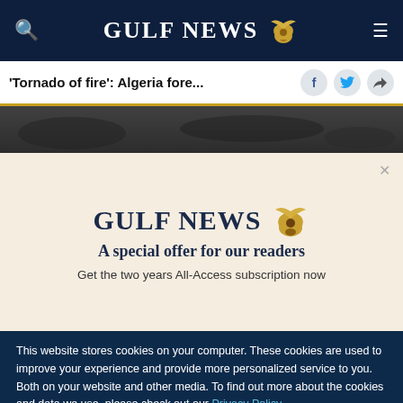GULF NEWS
'Tornado of fire': Algeria fore...
[Figure (photo): Dark photograph of burnt forest/fire aftermath]
GULF NEWS
A special offer for our readers
Get the two years All-Access subscription now
This website stores cookies on your computer. These cookies are used to improve your experience and provide more personalized service to you. Both on your website and other media. To find out more about the cookies and data we use, please check out our Privacy Policy.
OK